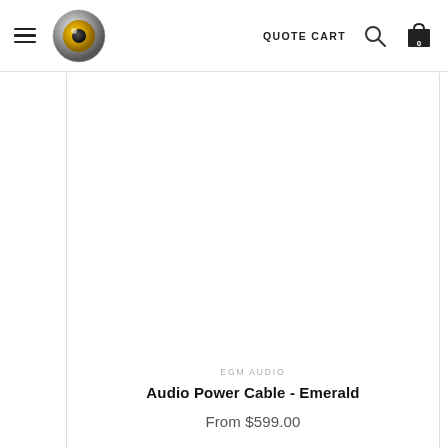QUOTE CART
[Figure (photo): Product card showing EGM Audio Audio Power Cable - Emerald with blank white product image area]
EGM AUDIO
Audio Power Cable - Emerald
From $599.00